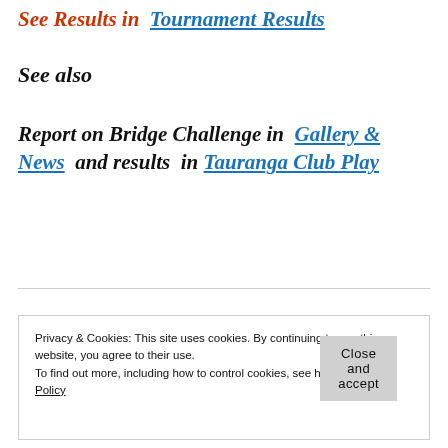See Results in  Tournament Results
See also
Report on Bridge Challenge in  Gallery & News  and results  in Tauranga Club Play
Privacy & Cookies: This site uses cookies. By continuing to use this website, you agree to their use.
To find out more, including how to control cookies, see here: Cookie Policy
Close and accept